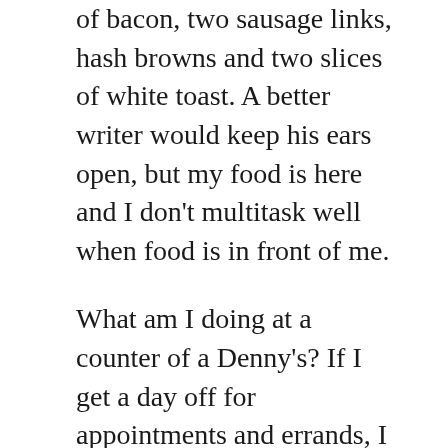of bacon, two sausage links, hash browns and two slices of white toast. A better writer would keep his ears open, but my food is here and I don't multitask well when food is in front of me.
What am I doing at a counter of a Denny's? If I get a day off for appointments and errands, I almost always go to a neighborhood restaurant that serves a good breakfast, but today, thinking about writing a post on diners, I decided to throw caution to the wind and eat at this place. The original idea was to eat at the counters of a half-dozen diners to take the pulse of “Real Americans,” but felt the triteness of the subject wasn't worth the extra lining of arterial plaque, so this post is mostly about my personal history of diners.
I grew up in Chicago and the summer of...